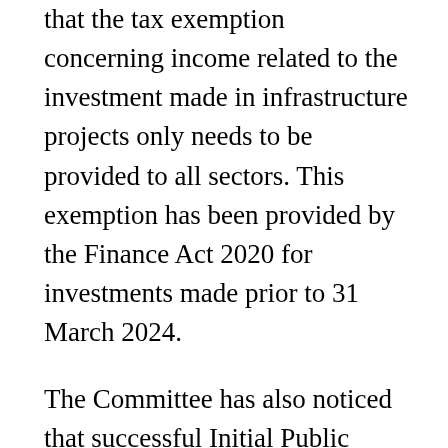that the tax exemption concerning income related to the investment made in infrastructure projects only needs to be provided to all sectors. This exemption has been provided by the Finance Act 2020 for investments made prior to 31 March 2024.
The Committee has also noticed that successful Initial Public Offerings (IPOs) of Infrastructure Investment Trust (InvITs) and Real Estate Investment Trusts (REITs) have already proved that asset portfolios can be grouped for attracting a specific investor type. Hence, the committee is likely to recommend that NBFCs also need to be allowed to be listed on stock